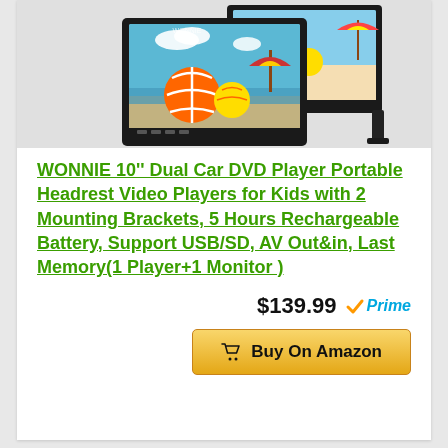[Figure (photo): Two portable car DVD players with screens showing a beach scene with colorful beach balls, mounted on black brackets]
WONNIE 10'' Dual Car DVD Player Portable Headrest Video Players for Kids with 2 Mounting Brackets, 5 Hours Rechargeable Battery, Support USB/SD, AV Out&in, Last Memory(1 Player+1 Monitor )
$139.99 Prime
Buy On Amazon